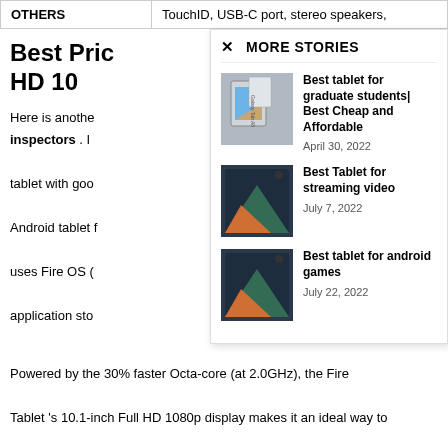|  |  |
| --- | --- |
| OTHERS | TouchID, USB-C port, stereo speakers, |
Best Pric HD 10
Here is anothe inspectors . tablet with goo Android tablet uses Fire OS ( application sto
[Figure (screenshot): Popup overlay with MORE STORIES section showing three tablet-related article links with images and dates]
Powered by the 30% faster Octa-core (at 2.0GHz), the Fire Tablet 's 10.1-inch Full HD 1080p display makes it an ideal way to